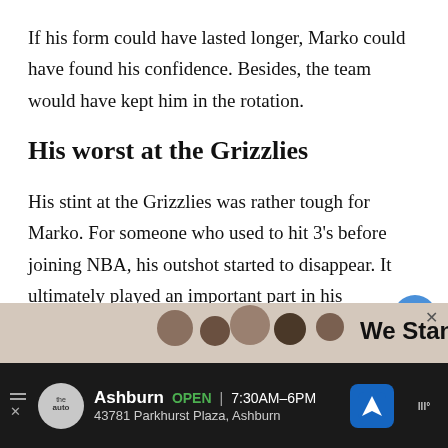If his form could have lasted longer, Marko could have found his confidence. Besides, the team would have kept him in the rotation.
His worst at the Grizzlies
His stint at the Grizzlies was rather tough for Marko. For someone who used to hit 3's before joining NBA, his outshot started to disappear. It ultimately played an important part in his confidence.
[Figure (photo): Advertisement strip showing people images and text 'We Stan']
Ashburn OPEN 7:30AM–6PM 43781 Parkhurst Plaza, Ashburn